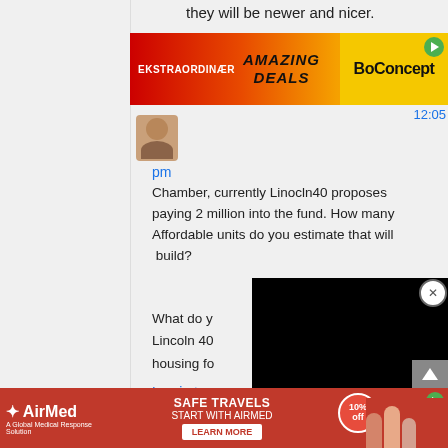they will be newer and nicer.
[Figure (screenshot): BoConcept AMAZING DEALS advertisement banner with red-to-yellow gradient and EKSTRAORDINÆR text]
12:05 pm
Chamber, currently Linocln40 proposes paying 2 million into the fund. How many Affordable units do you estimate that will  build?
What do y... Lincoln 40... housing fo...
Log in to ...
[Figure (screenshot): Black video/overlay panel covering part of the comment]
Chamber Fan October 21, 2016
at 12:38 pm
About 28 units
[Figure (screenshot): AirMed advertisement banner: SAFE TRAVELS START WITH AIRMED, LEARN MORE button, 10% off badge]